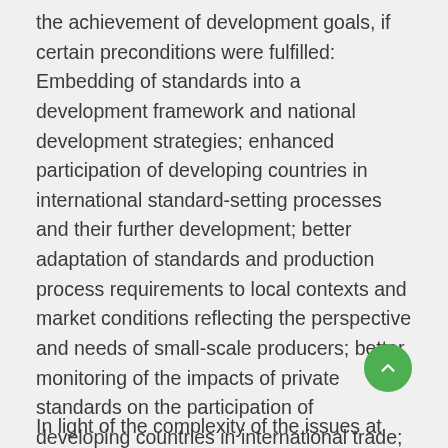the achievement of development goals, if certain preconditions were fulfilled: Embedding of standards into a development framework and national development strategies; enhanced participation of developing countries in international standard-setting processes and their further development; better adaptation of standards and production process requirements to local contexts and market conditions reflecting the perspective and needs of small-scale producers; better monitoring of the impacts of private standards on the participation of developing countries in international trade; addressing imbalances in power-structures within supply chains and associated price pressure; in addition to appropriate financial and technical support for smallholder farmers.
In light of the complexity of the issues at hand, it is